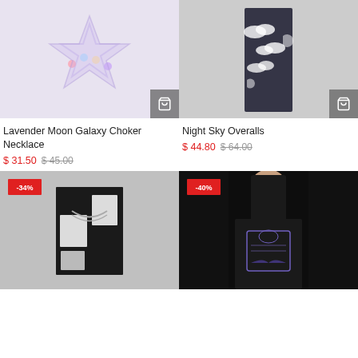[Figure (photo): Lavender Moon Galaxy Choker Necklace product image - colorful star-shaped accessory on light purple background with cart button]
Lavender Moon Galaxy Choker Necklace
$ 31.50  $ 45.00
[Figure (photo): Night Sky Overalls product image - black and white cloud/moon print shorts on gray background with cart button]
Night Sky Overalls
$ 44.80  $ 64.00
[Figure (photo): Manga print skirt with chains product image on gray background, -34% discount badge]
[Figure (photo): Black ouija board print sweatshirt on model, -40% discount badge]